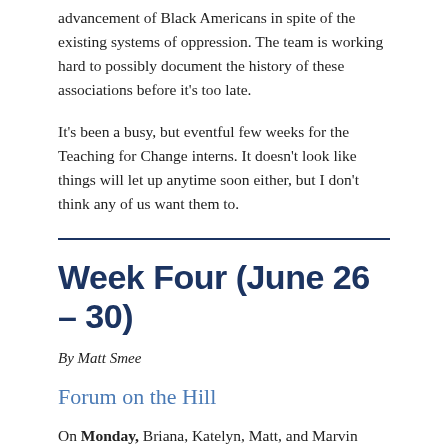advancement of Black Americans in spite of the existing systems of oppression. The team is working hard to possibly document the history of these associations before it's too late.
It's been a busy, but eventful few weeks for the Teaching for Change interns. It doesn't look like things will let up anytime soon either, but I don't think any of us want them to.
Week Four (June 26 – 30)
By Matt Smee
Forum on the Hill
On Monday, Briana, Katelyn, Matt, and Marvin made their